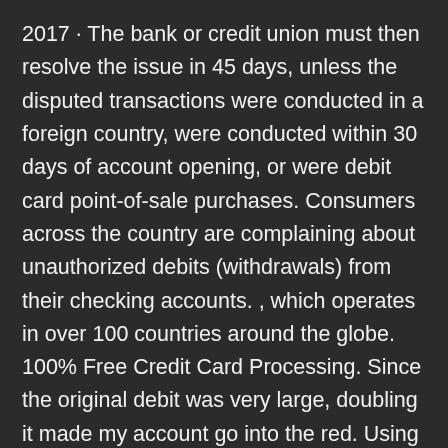2017 · The bank or credit union must then resolve the issue in 45 days, unless the disputed transactions were conducted in a foreign country, were conducted within 30 days of account opening, or were debit card point-of-sale purchases. Consumers across the country are complaining about unauthorized debits (withdrawals) from their checking accounts. , which operates in over 100 countries around the globe. 100% Free Credit Card Processing. Since the original debit was very large, doubling it made my account go into the red. Using a Chase debit card in Europe costs you $5 for each ATM cash withdrawal plus 1% of the amount withdrawn. Seattle, WA 98109 USA. com Online POS Terminal is a browser-based payment processing application that lets you use your desktop or laptop computer as if it were a point-of-sale terminal. Look for the Cardless symbol on the ATM, and tap it with your phone. If